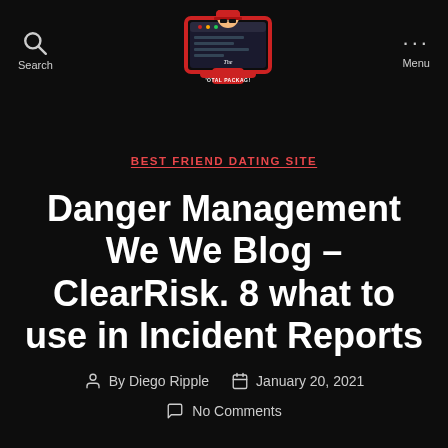Search | The Total Package | Menu
BEST FRIEND DATING SITE
Danger Management We We Blog – ClearRisk. 8 what to use in Incident Reports
By Diego Ripple   January 20, 2021   No Comments